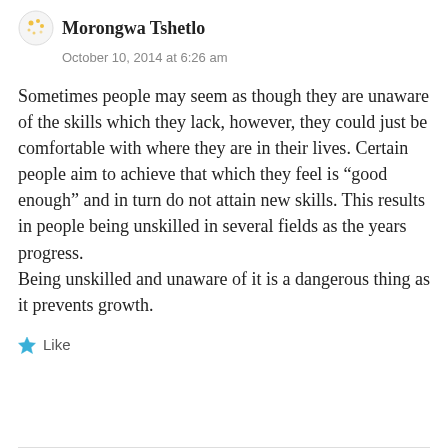Morongwa Tshetlo
October 10, 2014 at 6:26 am
Sometimes people may seem as though they are unaware of the skills which they lack, however, they could just be comfortable with where they are in their lives. Certain people aim to achieve that which they feel is “good enough” and in turn do not attain new skills. This results in people being unskilled in several fields as the years progress.
Being unskilled and unaware of it is a dangerous thing as it prevents growth.
Like